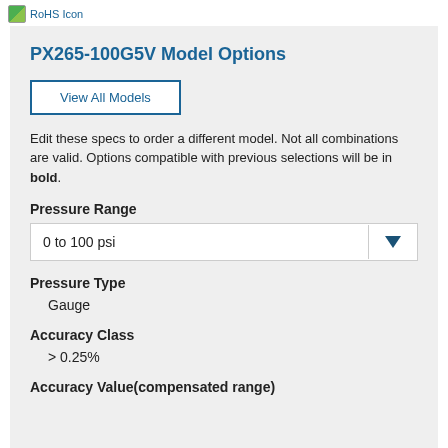RoHS Icon
PX265-100G5V Model Options
View All Models
Edit these specs to order a different model. Not all combinations are valid. Options compatible with previous selections will be in bold.
Pressure Range
0 to 100 psi
Pressure Type
Gauge
Accuracy Class
> 0.25%
Accuracy Value(compensated range)